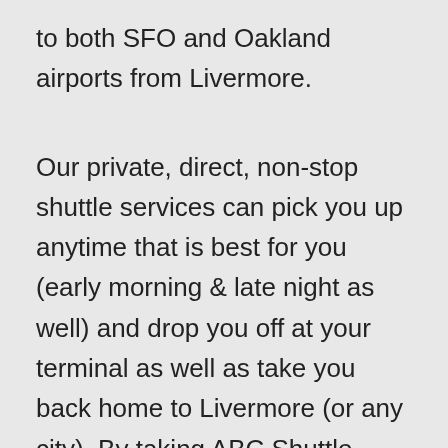to both SFO and Oakland airports from Livermore.
Our private, direct, non-stop shuttle services can pick you up anytime that is best for you (early morning & late night as well) and drop you off at your terminal as well as take you back home to Livermore (or any city). By taking ABC Shuttle Service you won't have to trouble yourself over parking, and won't have to struggle with long traffic lines. There are a number of SFO & Oakland Airport shuttle services to Livermore out there, but ABC Shuttle Service is the best because our shuttles are consistently punctual, always reliable & cheap. You can consider us the discount or